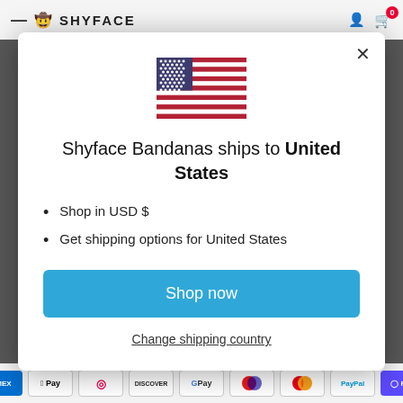[Figure (screenshot): US flag SVG icon centered in modal]
Shyface Bandanas ships to United States
Shop in USD $
Get shipping options for United States
Shop now
Change shipping country